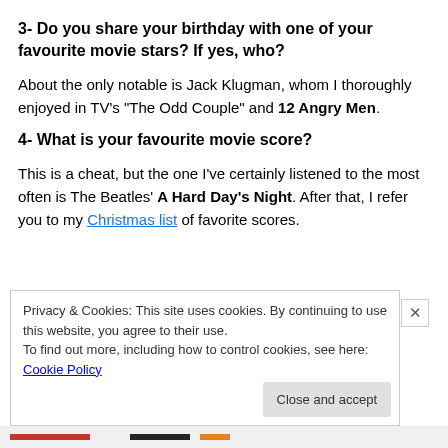3- Do you share your birthday with one of your favourite movie stars? If yes, who?
About the only notable is Jack Klugman, whom I thoroughly enjoyed in TV’s “The Odd Couple” and 12 Angry Men.
4- What is your favourite movie score?
This is a cheat, but the one I’ve certainly listened to the most often is The Beatles’ A Hard Day’s Night. After that, I refer you to my Christmas list of favorite scores.
Privacy & Cookies: This site uses cookies. By continuing to use this website, you agree to their use.
To find out more, including how to control cookies, see here: Cookie Policy